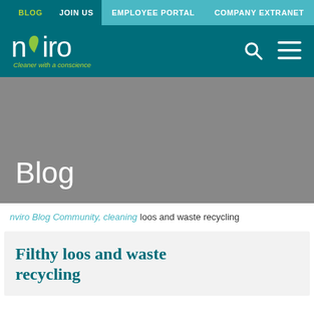BLOG  JOIN US  EMPLOYEE PORTAL  COMPANY EXTRANET
[Figure (logo): Nviro logo with green leaf above the 'v', white text on teal background, tagline 'Cleaner with a conscience']
Blog
waste recycling
Filthy loos and waste recycling